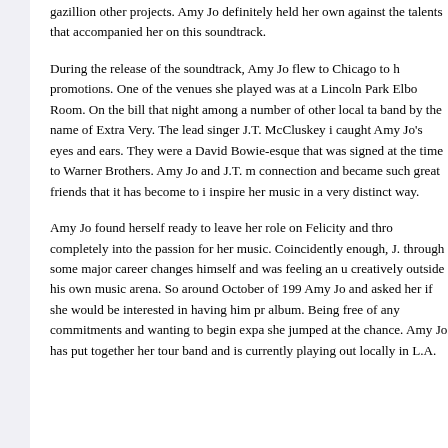gazillion other projects. Amy Jo definitely held her own against the talents that accompanied her on this soundtrack.
During the release of the soundtrack, Amy Jo flew to Chicago to h promotions. One of the venues she played was at a Lincoln Park Elbo Room. On the bill that night among a number of other local ta band by the name of Extra Very. The lead singer J.T. McCluskey i caught Amy Jo's eyes and ears. They were a David Bowie-esque that was signed at the time to Warner Brothers. Amy Jo and J.T. m connection and became such great friends that it has become to i inspire her music in a very distinct way.
Amy Jo found herself ready to leave her role on Felicity and thro completely into the passion for her music. Coincidently enough, J. through some major career changes himself and was feeling an u creatively outside his own music arena. So around October of 199 Amy Jo and asked her if she would be interested in having him pr album. Being free of any commitments and wanting to begin expa she jumped at the chance. Amy Jo has put together her tour band and is currently playing out locally in L.A.